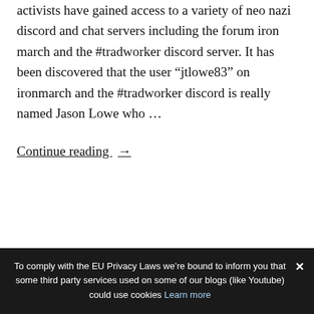activists have gained access to a variety of neo nazi discord and chat servers including the forum iron march and the #tradworker discord server. It has been discovered that the user “jtlowe83” on ironmarch and the #tradworker discord is really named Jason Lowe who …
Continue reading →
To comply with the EU Privacy Laws we’re bound to inform you that some third party services used on some of our blogs (like Youtube) could use cookies Learn more